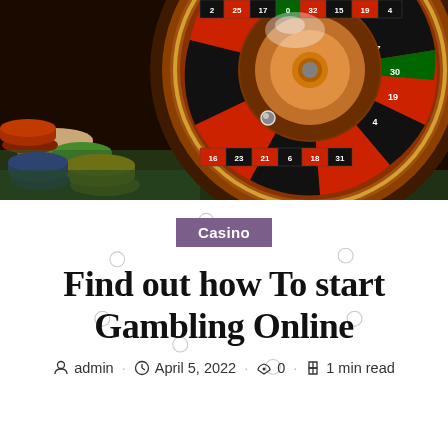[Figure (photo): Close-up photograph of a roulette wheel with casino chips visible on the left side. The wheel shows numbers including 16, 23, 21, and others in red and black slots. The wheel has a warm brown/orange wooden frame.]
Casino
Find out how To start Gambling Online
admin · April 5, 2022 · 0 · 1 min read